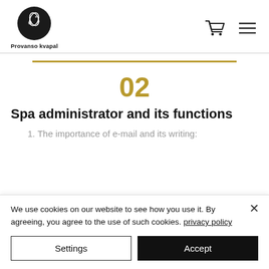[Figure (logo): Provanso kvapal circular logo with floral/leaf motif]
Provanso kvapal
02
Spa administrator and its functions
1. The importance of e-mail and its writing:
We use cookies on our website to see how you use it. By agreeing, you agree to the use of such cookies. privacy policy